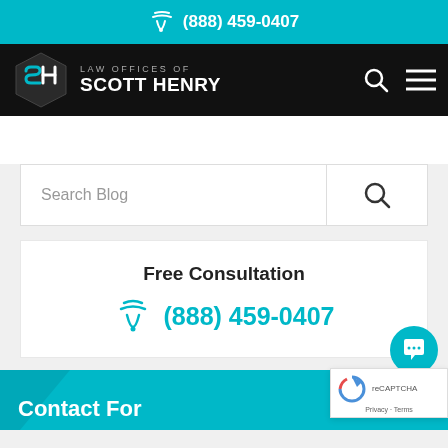(888) 459-0407
[Figure (logo): Law Offices of Scott Henry logo with hexagon SH icon on black navigation bar]
Search Blog
Free Consultation
(888) 459-0407
Contact For